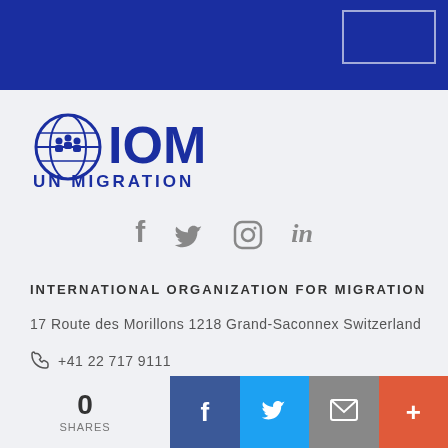[Figure (logo): IOM UN Migration logo with globe icon, bold IOM text, and UN MIGRATION subtitle in blue]
[Figure (infographic): Social media icons row: Facebook (f), Twitter (bird), Instagram (camera), LinkedIn (in) in grey]
INTERNATIONAL ORGANIZATION FOR MIGRATION
17 Route des Morillons 1218 Grand-Saconnex Switzerland
+41 22 717 9111
[Figure (infographic): Share bar at bottom: 0 SHARES count, Facebook share button (dark blue), Twitter share button (light blue), Email share button (grey), More button (orange-red)]